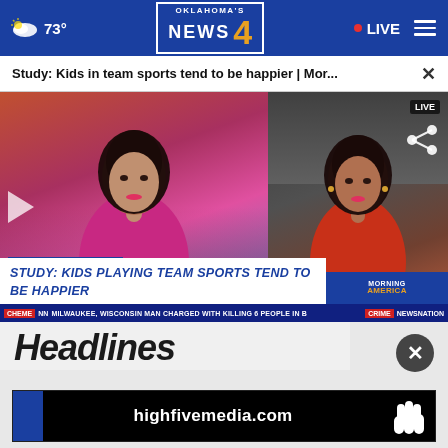73° Oklahoma's News 4 LIVE
Study: Kids in team sports tend to be happier | Mor... ×
[Figure (screenshot): TV news broadcast screenshot showing two women in split screen. Left: news anchor in pink/magenta dress against studio background. Right: interview guest in red top against home background. Lower third shows 'CHILD MENTAL HEALTH' label and headline bar reading 'STUDY: KIDS PLAYING TEAM SPORTS TEND TO BE HAPPIER'. Bottom crawl shows Milwaukee Wisconsin man charged with killing 6 people. Morning America badge visible on right. Share icon and LIVE badge in upper right.]
Headlines
[Figure (screenshot): Advertisement banner with black background showing 'highfivemedia.com' text in white with a white hand icon on the right against dark blue background.]